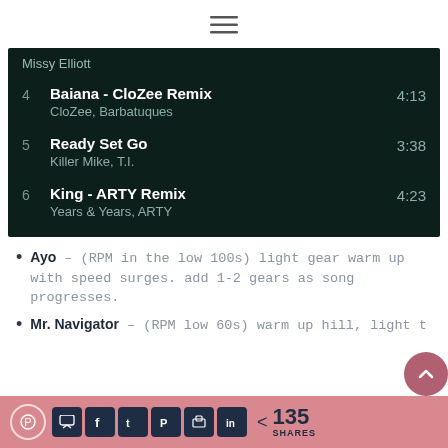[Figure (screenshot): Hamburger menu icon (three horizontal lines) centered at top of page]
| # | Title / Artist | Duration |
| --- | --- | --- |
|  | Missy Elliott |  |
| 4 | Baiana - CloZee Remix
CloZee, Barbatuques | 4:13 |
| 5 | Ready Set Go
Killer Mike, T.I. | 3:38 |
| 6 | King - ARTY Remix
Years & Years, ARTY | 4:23 |
Ayo – (RPM in the low 100s) light gear warm up with speed surges. add 1-2 gears as song progresses.
Mr. Navigator – (RPM low 60s) warm up hill, light torque resistance. Shell...
135 SHARES